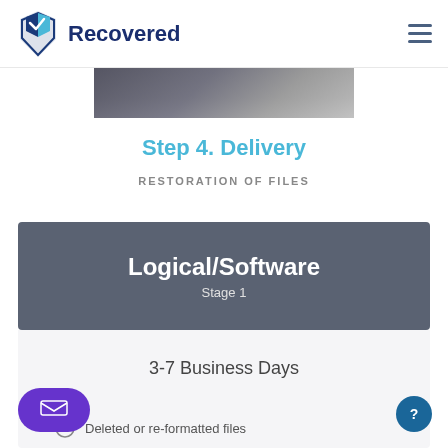Recovered
[Figure (photo): Partial photo showing people in business attire, appears to be a handshake or meeting scene]
Step 4. Delivery
RESTORATION OF FILES
Logical/Software
Stage 1
3-7 Business Days
Deleted or re-formatted files